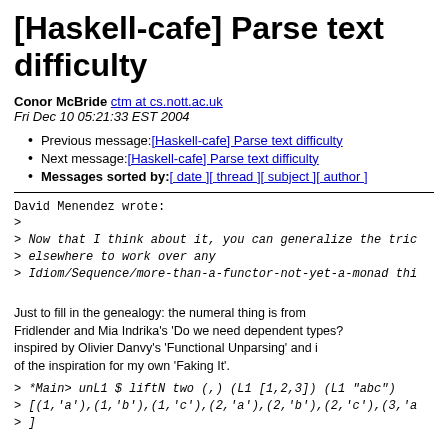[Haskell-cafe] Parse text difficulty
Conor McBride ctm at cs.nott.ac.uk
Fri Dec 10 05:21:33 EST 2004
Previous message: [Haskell-cafe] Parse text difficulty
Next message: [Haskell-cafe] Parse text difficulty
Messages sorted by: [ date ] [ thread ] [ subject ] [ author ]
David Menendez wrote:
>
> Now that I think about it, you can generalize the tric
> elsewhere to work over any
> Idiom/Sequence/more-than-a-functor-not-yet-a-monad thi
Just to fill in the genealogy: the numeral thing is from
Fridlender and Mia Indrika's 'Do we need dependent types?
inspired by Olivier Danvy's 'Functional Unparsing' and i
of the inspiration for my own 'Faking It'.
> *Main> unL1 $ liftN two (,) (L1 [1,2,3]) (L1 "abc")
> [(1,'a'),(1,'b'),(1,'c'),(2,'a'),(2,'b'),(2,'c'),(3,'a
> ]